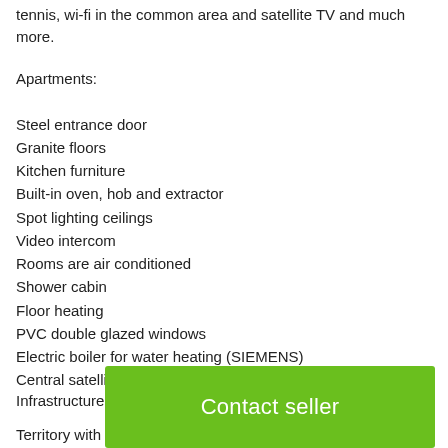tennis, wi-fi in the common area and satellite TV and much more.
Apartments:
Steel entrance door
Granite floors
Kitchen furniture
Built-in oven, hob and extractor
Spot lighting ceilings
Video intercom
Rooms are air conditioned
Shower cabin
Floor heating
PVC double glazed windows
Electric boiler for water heating (SIEMENS)
Central satellite television
Infrastructure:
Territory with landscape design
Two
Lobb
Modern elevators
A fitness center
[Figure (other): Green 'Contact seller' button overlay]